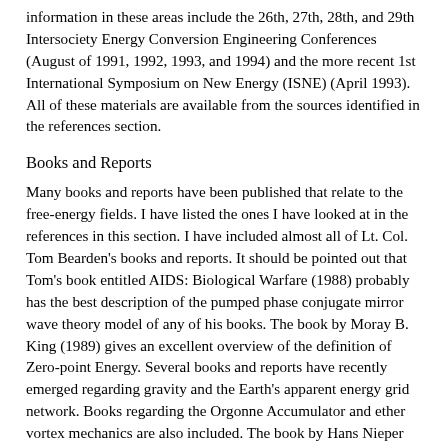information in these areas include the 26th, 27th, 28th, and 29th Intersociety Energy Conversion Engineering Conferences (August of 1991, 1992, 1993, and 1994) and the more recent 1st International Symposium on New Energy (ISNE) (April 1993). All of these materials are available from the sources identified in the references section.
Books and Reports
Many books and reports have been published that relate to the free-energy fields. I have listed the ones I have looked at in the references in this section. I have included almost all of Lt. Col. Tom Bearden's books and reports. It should be pointed out that Tom's book entitled AIDS: Biological Warfare (1988) probably has the best description of the pumped phase conjugate mirror wave theory model of any of his books. The book by Moray B. King (1989) gives an excellent overview of the definition of Zero-point Energy. Several books and reports have recently emerged regarding gravity and the Earth's apparent energy grid network. Books regarding the Orgonne Accumulator and ether vortex mechanics are also included. The book by Hans Nieper (1984) is a great reference book, and sometimes hard to find: use the source listed. The theories of Victor Schauberger (Alexandersson, 1982) are also very interesting, including his descriptions of Natural energy vortices, the changing properties of 4 degree C water with